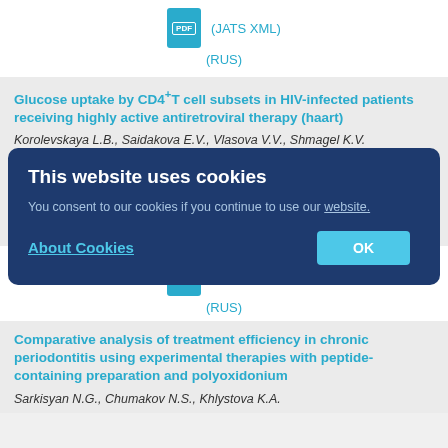(JATS XML)
(RUS)
Glucose uptake by CD4+T cell subsets in HIV-infected patients receiving highly active antiretroviral therapy (haart)
Korolevskaya L.B., Saidakova E.V., Vlasova V.V., Shmagel K.V.
Abstract
Metabolism of glucose, a universal biosynthetic substrate in CD4+ T lymphocytes, is increased in HIV-infection. However, the issue of heterogeneity in
an Journal of Immunology. 2021;24(2):311-316
311-316
(JATS XML)
(RUS)
This website uses cookies
You consent to our cookies if you continue to use our website.
About Cookies
OK
Comparative analysis of treatment efficiency in chronic periodontitis using experimental therapies with peptide-containing preparation and polyoxidonium
Sarkisyan N.G., Chumakov N.S., Khlystova K.A.